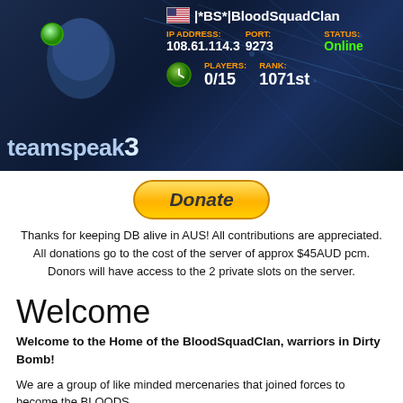[Figure (screenshot): TeamSpeak 3 server banner showing server name |*BS*|BloodSquadClan, IP 108.61.114.3, Port 9273, Status Online, Players 0/15, Rank 1071st]
[Figure (other): Donate button with orange/yellow gradient styling]
Thanks for keeping DB alive in AUS! All contributions are appreciated. All donations go to the cost of the server of approx $45AUD pcm. Donors will have access to the 2 private slots on the server.
Welcome
Welcome to the Home of the BloodSquadClan, warriors in Dirty Bomb!
We are a group of like minded mercenaries that joined forces to become the BLOODS.
Though not related, we are brothers and sisters in arms. Take one of us on and you take ALL of us on!
"MESS with the BEST, DIE like the REST"